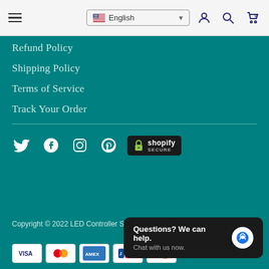Menu | English | User | Search | Cart 0
Refund Policy
Shipping Policy
Terms of Service
Track Your Order
[Figure (infographic): Social media icons: Twitter, Facebook, Instagram, Pinterest; Shopify Secure badge]
Copyright © 2022 LED Controller Store. All Rights Reserved.
[Figure (infographic): Payment method icons: VISA, Mastercard, AMEX, JCB, Discover]
[Figure (infographic): Chat widget: Questions? We can help. Chat with us now.]